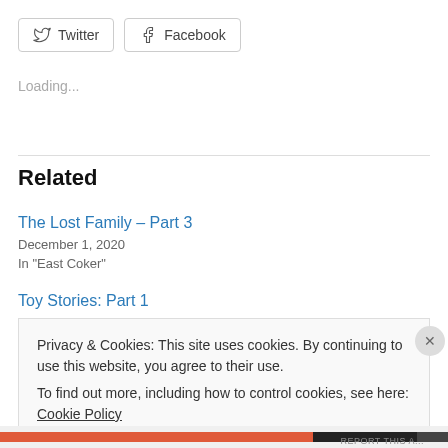[Figure (other): Twitter and Facebook social share buttons with icons]
Loading...
Related
The Lost Family – Part 3
December 1, 2020
In "East Coker"
Toy Stories: Part 1
Privacy & Cookies: This site uses cookies. By continuing to use this website, you agree to their use.
To find out more, including how to control cookies, see here: Cookie Policy
Close and accept